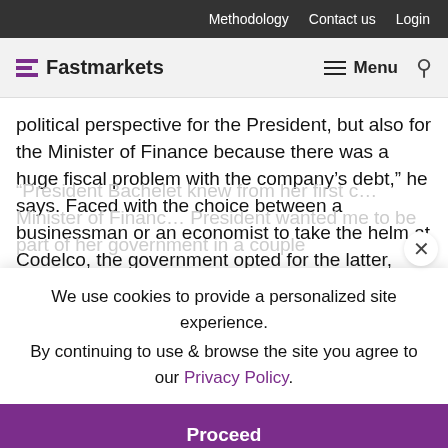Methodology   Contact us   Login
Fastmarkets   Menu
political perspective for the President, but also for the Minister of Finance because there was a huge fiscal problem with the company’s debt,” he says. Faced with the choice between a businessman or an economist to take the helm at Codelco, the government opted for the latter, Landerretche surmises.
“President Bachelet knew from her first c… Minister of Financ… President wanted me to be part of her government in a couple
We use cookies to provide a personalized site experience.
By continuing to use & browse the site you agree to our Privacy Policy.
Proceed
Landerretche was persuaded to take on the role and